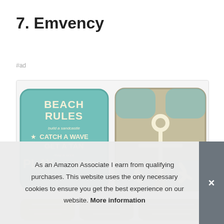7. Emvency
#ad
[Figure (photo): Two decorative beach-themed throw pillows: left pillow is teal with text 'BEACH RULES build a sandcastle CATCH A WAVE GET A TAN PLAY read a book SWIM find seashells'; right pillow is sandy-beige with a white anchor design.]
As an Amazon Associate I earn from qualifying purchases. This website uses the only necessary cookies to ensure you get the best experience on our website. More information